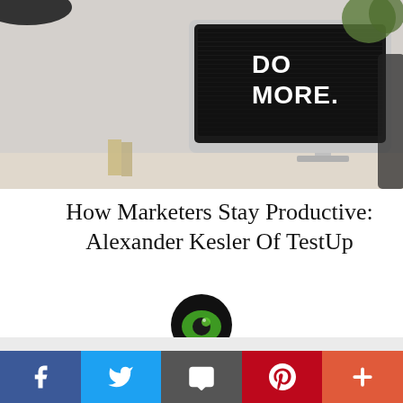[Figure (photo): Photo of an iMac desktop computer on a desk displaying the text 'DO MORE.' on its screen, with shelving, plants, and office supplies in the background.]
How Marketers Stay Productive: Alexander Kesler Of TestUp
[Figure (logo): Round black icon with a green eye/lens graphic — TestUp or related brand logo]
This website uses cookies to ensure you get the best experience on our website. Learn more
of
Got it!